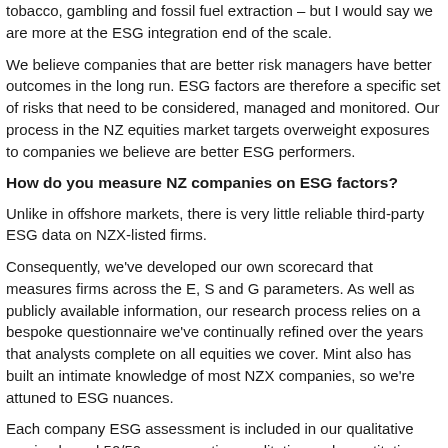tobacco, gambling and fossil fuel extraction – but I would say we are more at the ESG integration end of the scale.
We believe companies that are better risk managers have better outcomes in the long run. ESG factors are therefore a specific set of risks that need to be considered, managed and monitored. Our process in the NZ equities market targets overweight exposures to companies we believe are better ESG performers.
How do you measure NZ companies on ESG factors?
Unlike in offshore markets, there is very little reliable third-party ESG data on NZX-listed firms.
Consequently, we've developed our own scorecard that measures firms across the E, S and G parameters. As well as publicly available information, our research process relies on a bespoke questionnaire we've continually refined over the years that analysts complete on all equities we cover. Mint also has built an intimate knowledge of most NZX companies, so we're attuned to ESG nuances.
Each company ESG assessment is included in our qualitative scoring based 50/50 on respective qualitative and quantitative scores.